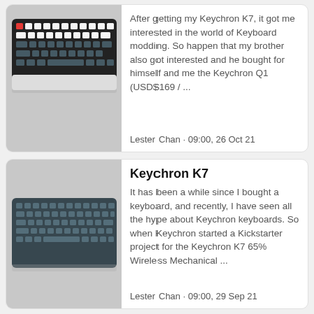[Figure (photo): Photo of Keychron Q1 keyboard with white and dark keycaps and a red Escape key, viewed from above at an angle]
After getting my Keychron K7, it got me interested in the world of Keyboard modding. So happen that my brother also got interested and he bought for himself and me the Keychron Q1 (USD$169 /  ...
Lester Chan · 09:00, 26 Oct 21
[Figure (photo): Photo of Keychron K7 compact 65% wireless mechanical keyboard with dark slate gray keycaps, viewed from above at a slight angle]
Keychron K7
It has been a while since I bought a keyboard, and recently, I have seen all the hype about Keychron keyboards. So when Keychron started a Kickstarter project for the Keychron K7 65% Wireless Mechanical  ...
Lester Chan · 09:00, 29 Sep 21